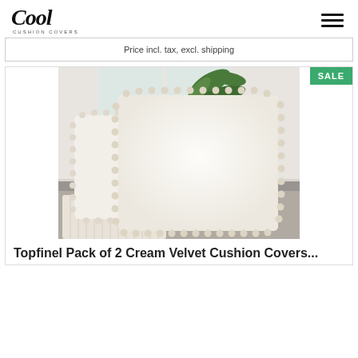Cool CUSHION COVERS
Price incl. tax, excl. shipping
[Figure (photo): Two cream velvet cushion covers with pom-pom trim displayed on a grey sofa with a knit throw and tropical plant in background]
Topfinel Pack of 2 Cream Velvet Cushion Covers...